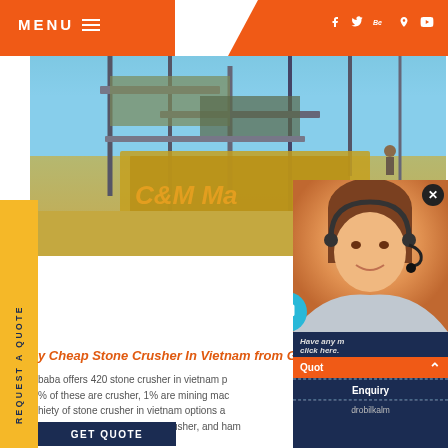MENU ≡  f  t  Be  ⊕  ▶
[Figure (photo): Industrial stone crusher machinery at a quarry site with scaffolding, blue sky, and C&M Machinery branding visible on the equipment]
REQUEST A QUOTE
[Figure (photo): Customer service representative woman with headset smiling, with chat overlay panel showing Have any message click here, Quote button, Enquiry, and drobilkalm text]
y Cheap Stone Crusher In Vietnam from Gl
baba offers 420 stone crusher in vietnam p
% of these are crusher, 1% are mining mac
hiety of stone crusher in vietnam options a
such as jaw crusher, impact crusher, and ham
GET QUOTE